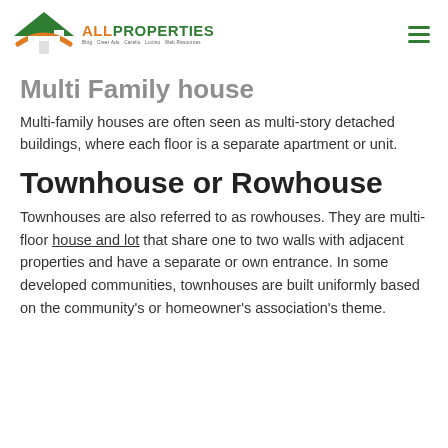ALLPROPERTIES — Bitig, Creer Ads, Carelio, Lucino, Web Resources
Multi Family house
Multi-family houses are often seen as multi-story detached buildings, where each floor is a separate apartment or unit.
Townhouse or Rowhouse
Townhouses are also referred to as rowhouses. They are multi-floor house and lot that share one to two walls with adjacent properties and have a separate or own entrance. In some developed communities, townhouses are built uniformly based on the community's or homeowner's association's theme.